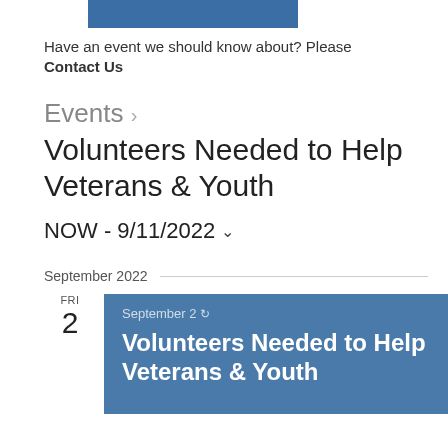Have an event we should know about? Please
Contact Us
Events ›
Volunteers Needed to Help Veterans & Youth
NOW - 9/11/2022 ˅
September 2022
FRI 2
September 2 🔄 Volunteers Needed to Help Veterans & Youth